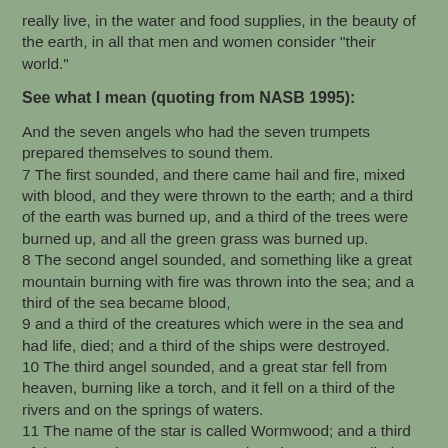really live, in the water and food supplies, in the beauty of the earth, in all that men and women consider "their world."
See what I mean (quoting from NASB 1995):
And the seven angels who had the seven trumpets prepared themselves to sound them.
7 The first sounded, and there came hail and fire, mixed with blood, and they were thrown to the earth; and a third of the earth was burned up, and a third of the trees were burned up, and all the green grass was burned up.
8 The second angel sounded, and something like a great mountain burning with fire was thrown into the sea; and a third of the sea became blood,
9 and a third of the creatures which were in the sea and had life, died; and a third of the ships were destroyed.
10 The third angel sounded, and a great star fell from heaven, burning like a torch, and it fell on a third of the rivers and on the springs of waters.
11 The name of the star is called Wormwood; and a third of the waters became wormwood, and many men died from the waters, because they were made bitter.